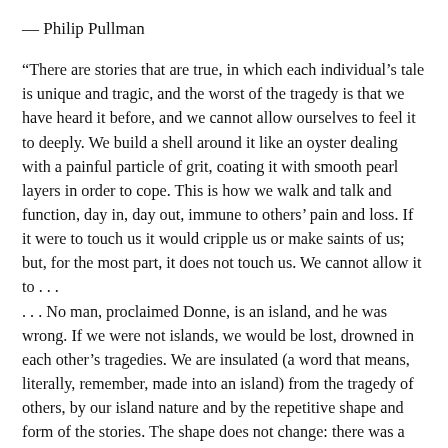— Philip Pullman
“There are stories that are true, in which each individual’s tale is unique and tragic, and the worst of the tragedy is that we have heard it before, and we cannot allow ourselves to feel it to deeply. We build a shell around it like an oyster dealing with a painful particle of grit, coating it with smooth pearl layers in order to cope. This is how we walk and talk and function, day in, day out, immune to others’ pain and loss. If it were to touch us it would cripple us or make saints of us; but, for the most part, it does not touch us. We cannot allow it to . . .
. . . No man, proclaimed Donne, is an island, and he was wrong. If we were not islands, we would be lost, drowned in each other’s tragedies. We are insulated (a word that means, literally, remember, made into an island) from the tragedy of others, by our island nature and by the repetitive shape and form of the stories. The shape does not change: there was a human being who was born, lived and then by some means or other, died. There. You may fill in the details from your own